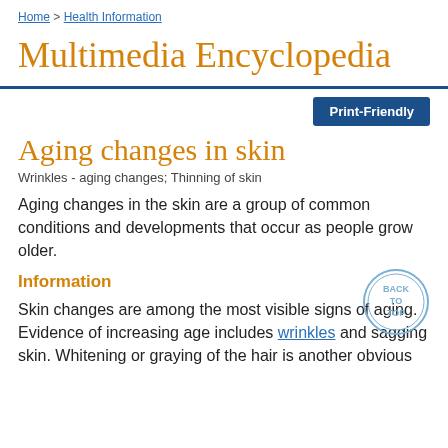Home > Health Information
Multimedia Encyclopedia
Aging changes in skin
Wrinkles - aging changes; Thinning of skin
Aging changes in the skin are a group of common conditions and developments that occur as people grow older.
Information
Skin changes are among the most visible signs of aging. Evidence of increasing age includes wrinkles and sagging skin. Whitening or graying of the hair is another obvious